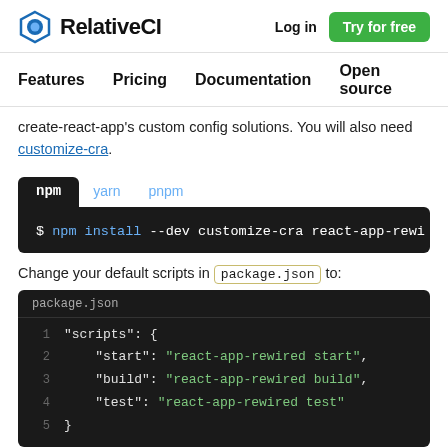RelativeCI — Log in — Try for free
Features   Pricing   Documentation   Open source
create-react-app's custom config solutions. You will also need customize-cra.
[Figure (screenshot): Code block with tabs (npm, yarn, pnpm) showing: $ npm install --dev customize-cra react-app-rewi...]
Change your default scripts in package.json to:
[Figure (screenshot): package.json code block showing scripts: 1: "scripts": {  2: "start": "react-app-rewired start",  3: "build": "react-app-rewired build",  4: "test": "react-app-rewired test"]